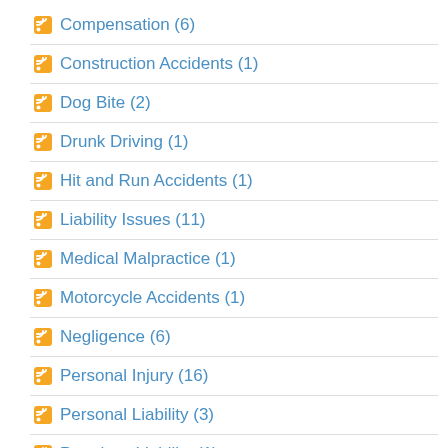Compensation (6)
Construction Accidents (1)
Dog Bite (2)
Drunk Driving (1)
Hit and Run Accidents (1)
Liability Issues (11)
Medical Malpractice (1)
Motorcycle Accidents (1)
Negligence (6)
Personal Injury (16)
Personal Liability (3)
Premises Liability (1)
Products Liability (1)